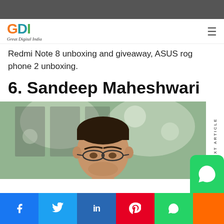GDI – Great Digital India
Redmi Note 8 unboxing and giveaway, ASUS rog phone 2 unboxing.
6. Sandeep Maheshwari
[Figure (photo): Portrait photo of Sandeep Maheshwari, a man with dark hair and glasses, in front of a blurred window background]
NEXT ARTICLE